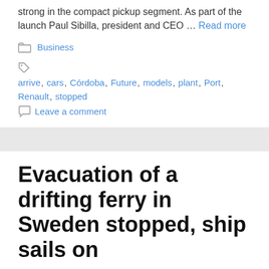strong in the compact pickup segment. As part of the launch Paul Sibilla, president and CEO … Read more
Business
arrive, cars, Córdoba, Future, models, plant, Port, Renault, stopped
Leave a comment
Evacuation of a drifting ferry in Sweden stopped, ship sails on
August 31, 2022